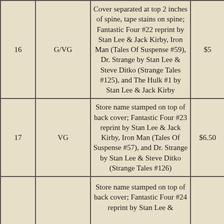| # | Grade | Description | Price |
| --- | --- | --- | --- |
| 16 | G/VG | Cover separated at top 2 inches of spine, tape stains on spine; Fantastic Four #22 reprint by Stan Lee & Jack Kirby, Iron Man (Tales Of Suspense #59), Dr. Strange by Stan Lee & Steve Ditko (Strange Tales #125), and The Hulk #1 by Stan Lee & Jack Kirby | $5 |
| 17 | VG | Store name stamped on top of back cover; Fantastic Four #23 reprint by Stan Lee & Jack Kirby, Iron Man (Tales Of Suspense #57), and Dr. Strange by Stan Lee & Steve Ditko (Strange Tales #126) | $6.50 |
|  |  | Store name stamped on top of back cover; Fantastic Four #24 reprint by Stan Lee & ... |  |